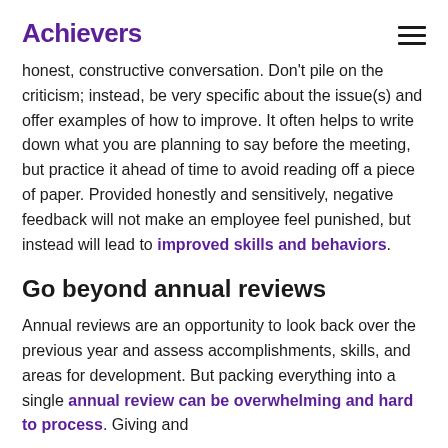Achievers
honest, constructive conversation. Don't pile on the criticism; instead, be very specific about the issue(s) and offer examples of how to improve. It often helps to write down what you are planning to say before the meeting, but practice it ahead of time to avoid reading off a piece of paper. Provided honestly and sensitively, negative feedback will not make an employee feel punished, but instead will lead to improved skills and behaviors.
Go beyond annual reviews
Annual reviews are an opportunity to look back over the previous year and assess accomplishments, skills, and areas for development. But packing everything into a single annual review can be overwhelming and hard to process. Giving and